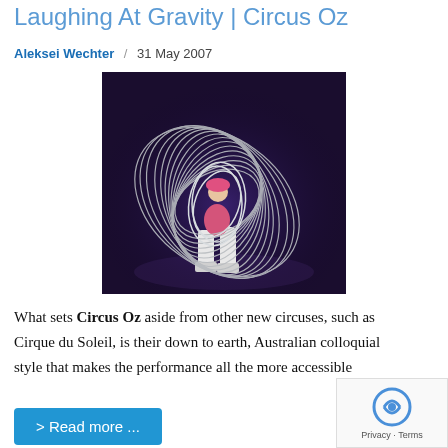Laughing At Gravity | Circus Oz
Aleksei Wechter / 31 May 2007
[Figure (photo): A circus performer spinning many metal hoops around their body on a dark purple-lit stage, wearing a pink costume and white boots.]
What sets Circus Oz aside from other new circuses, such as Cirque du Soleil, is their down to earth, Australian colloquial style that makes the performance all the more accessible
> Read more ...